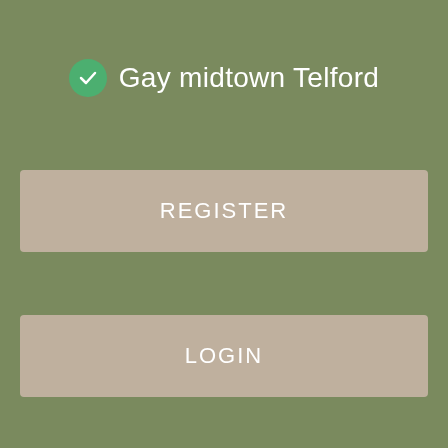Gay midtown Telford
REGISTER
LOGIN
CONTACT US
Body found in Grimsby is missing student Libby Squire, police say Hull
Subscribe Now Subscribe Now. Final Say. Long reads. Lib Dems. US Politics. Theresa May.
Jeremy Corbyn. Robert Fisk. Mark